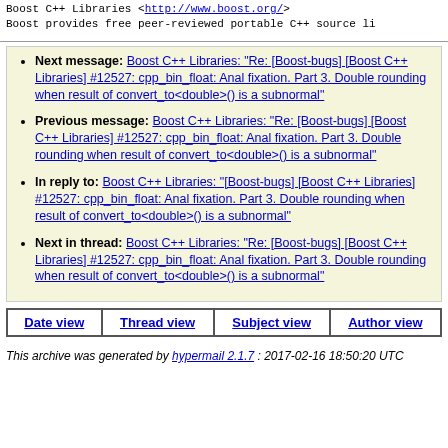Boost C++ Libraries <http://www.boost.org/>
Boost provides free peer-reviewed portable C++ source li
Next message: Boost C++ Libraries: "Re: [Boost-bugs] [Boost C++ Libraries] #12527: cpp_bin_float: Anal fixation. Part 3. Double rounding when result of convert_to<double>() is a subnormal"
Previous message: Boost C++ Libraries: "Re: [Boost-bugs] [Boost C++ Libraries] #12527: cpp_bin_float: Anal fixation. Part 3. Double rounding when result of convert_to<double>() is a subnormal"
In reply to: Boost C++ Libraries: "[Boost-bugs] [Boost C++ Libraries] #12527: cpp_bin_float: Anal fixation. Part 3. Double rounding when result of convert_to<double>() is a subnormal"
Next in thread: Boost C++ Libraries: "Re: [Boost-bugs] [Boost C++ Libraries] #12527: cpp_bin_float: Anal fixation. Part 3. Double rounding when result of convert_to<double>() is a subnormal"
| Date view | Thread view | Subject view | Author view |
| --- | --- | --- | --- |
This archive was generated by hypermail 2.1.7 : 2017-02-16 18:50:20 UTC